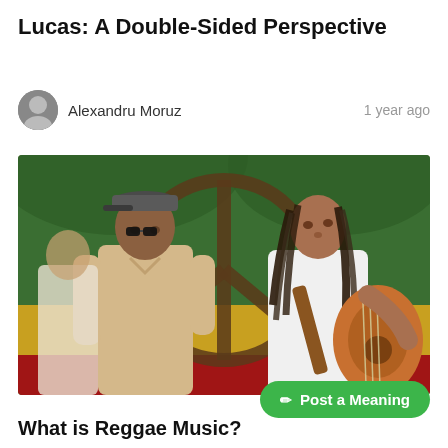Lucas: A Double-Sided Perspective
Alexandru Moruz   1 year ago
[Figure (photo): Two reggae musicians standing in front of a Rastafarian flag-colored wall with a peace sign painted on it. Left: a man in a cap and beige shirt. Right: a man with dreadlocks holding an acoustic guitar.]
What is Reggae Music?